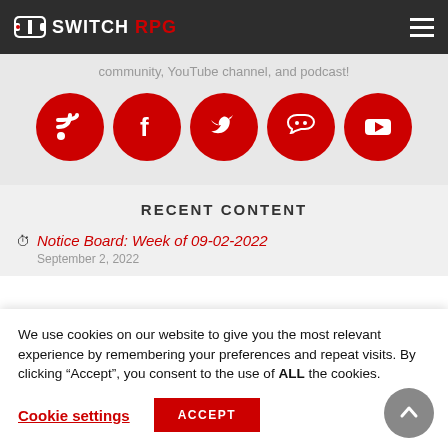SWITCH RPG
community, YouTube channel, and podcast!
[Figure (infographic): Five red circular social media icons: RSS feed, Facebook, Twitter, Discord, YouTube]
RECENT CONTENT
Notice Board: Week of 09-02-2022
September 2, 2022
We use cookies on our website to give you the most relevant experience by remembering your preferences and repeat visits. By clicking "Accept", you consent to the use of ALL the cookies.
Cookie settings   ACCEPT